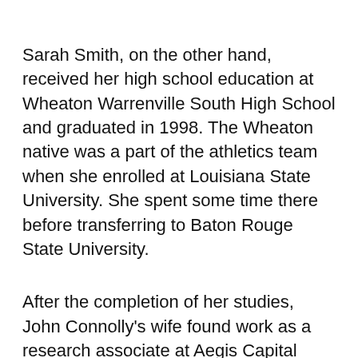Sarah Smith, on the other hand, received her high school education at Wheaton Warrenville South High School and graduated in 1998. The Wheaton native was a part of the athletics team when she enrolled at Louisiana State University. She spent some time there before transferring to Baton Rouge State University.
After the completion of her studies, John Connolly's wife found work as a research associate at Aegis Capital Group. She further worked at Hermitage Capital and at Terra Nova as project director. Sarah Smith would later find her place on TV as an on-air reporter for Bloomberg Television, after which she...